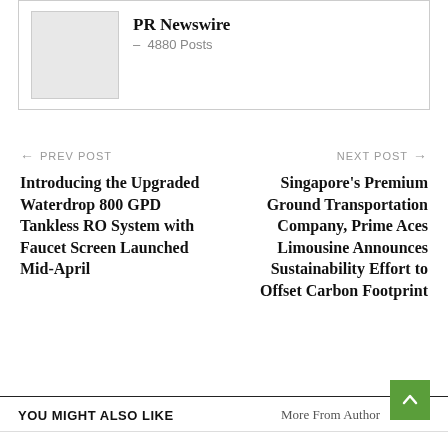PR Newswire – 4880 Posts
← PREV POST
Introducing the Upgraded Waterdrop 800 GPD Tankless RO System with Faucet Screen Launched Mid-April
NEXT POST →
Singapore's Premium Ground Transportation Company, Prime Aces Limousine Announces Sustainability Effort to Offset Carbon Footprint
YOU MIGHT ALSO LIKE   More From Author